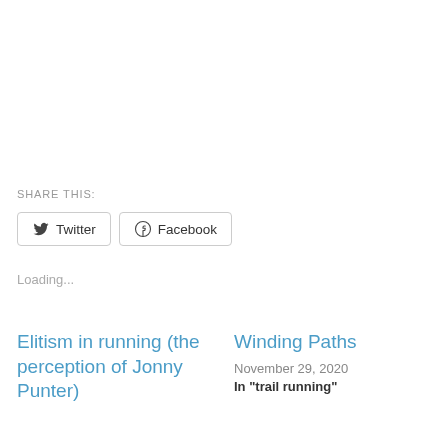SHARE THIS:
Twitter
Facebook
Loading...
Elitism in running (the perception of Jonny Punter)
Winding Paths
November 29, 2020
In "trail running"